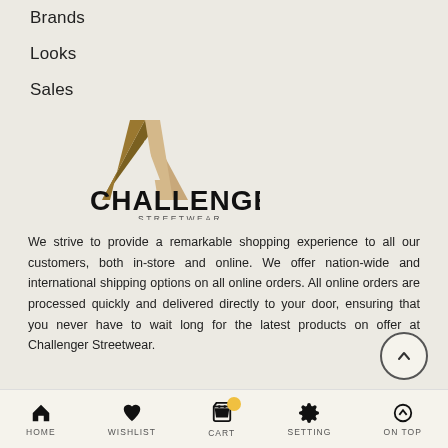Brands
Looks
Sales
[Figure (logo): Challenger Streetwear logo — a golden/tan triangle above bold text reading CHALLENGER with STREETWEAR below in smaller caps]
We strive to provide a remarkable shopping experience to all our customers, both in-store and online. We offer nation-wide and international shipping options on all online orders. All online orders are processed quickly and delivered directly to your door, ensuring that you never have to wait long for the latest products on offer at Challenger Streetwear.
HOME   WISHLIST   CART   SETTING   ON TOP